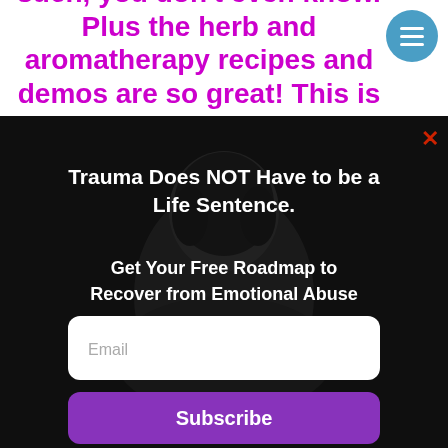such, you don't even know. Plus the herb and aromatherapy recipes and demos are so great! This is so wonderful! Wow! Thanks
[Figure (screenshot): Modal overlay popup on dark background with photo of person from behind. Contains headline 'Trauma Does NOT Have to be a Life Sentence.' and subheadline 'Get Your Free Roadmap to Recover from Emotional Abuse' with email input field and Subscribe button.]
Trauma Does NOT Have to be a Life Sentence.
Get Your Free Roadmap to Recover from Emotional Abuse
Email
Subscribe